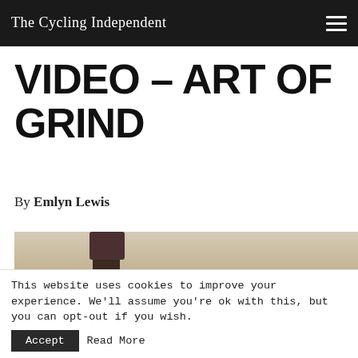The Cycling Independent
VIDEO – ART OF GRIND
By Emlyn Lewis
[Figure (photo): Cyclist riding on a gravel desert trail, close-up of legs and bike wheel, with scrubby desert landscape and distant hills in the background.]
This website uses cookies to improve your experience. We'll assume you're ok with this, but you can opt-out if you wish.  Accept  Read More